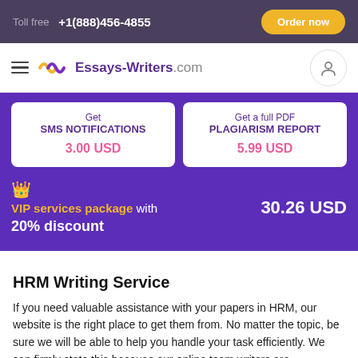Toll free +1(888)456-4855 | Order now
[Figure (logo): Essays-Writers.com logo with hamburger menu and user icon]
Get SMS NOTIFICATIONS 3.00 USD
Get a full PDF PLAGIARISM REPORT 5.99 USD
VIP services package with 20% discount 30.26 USD
HRM Writing Service
If you need valuable assistance with your papers in HRM, our website is the right place to get them from. No matter the topic, be sure we will be able to help you handle your task efficiently. We can firmly state this because our online team writers are